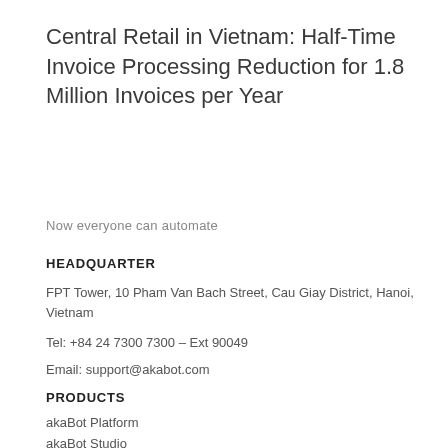Central Retail in Vietnam: Half-Time Invoice Processing Reduction for 1.8 Million Invoices per Year
Now everyone can automate
HEADQUARTER
FPT Tower, 10 Pham Van Bach Street, Cau Giay District, Hanoi, Vietnam
Tel: +84 24 7300 7300 – Ext 90049
Email: support@akabot.com
PRODUCTS
akaBot Platform
akaBot Studio